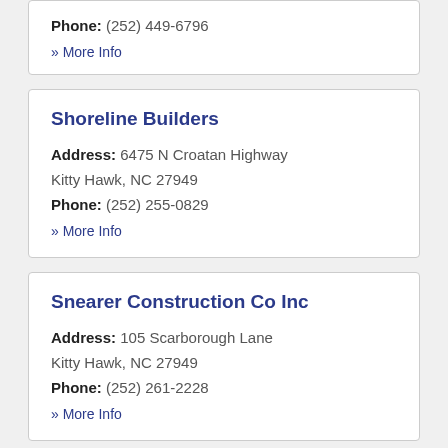Phone: (252) 449-6796
» More Info
Shoreline Builders
Address: 6475 N Croatan Highway Kitty Hawk, NC 27949
Phone: (252) 255-0829
» More Info
Snearer Construction Co Inc
Address: 105 Scarborough Lane Kitty Hawk, NC 27949
Phone: (252) 261-2228
» More Info